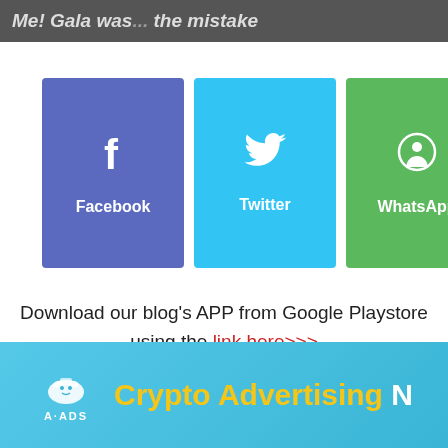Me! Gala was... the mistake
[Figure (infographic): Social share buttons: Facebook (blue-purple), Twitter (light blue), WhatsApp (green), and a '+' more button (white)]
Download our blog’s APP from Google Playstore using the link here>>>
[Figure (infographic): A-ADS Crypto Advertising Network banner ad with light blue background, A-ADS logo and mascot, yellow 'Crypto Advertising N' text]